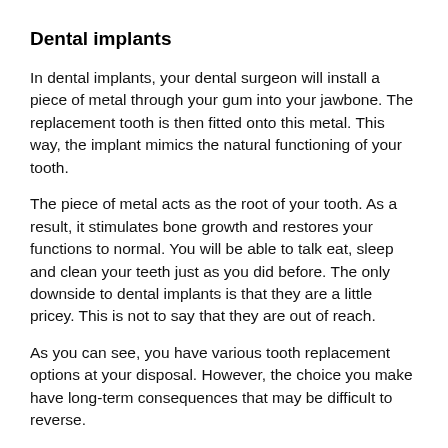Dental implants
In dental implants, your dental surgeon will install a piece of metal through your gum into your jawbone. The replacement tooth is then fitted onto this metal. This way, the implant mimics the natural functioning of your tooth.
The piece of metal acts as the root of your tooth. As a result, it stimulates bone growth and restores your functions to normal. You will be able to talk eat, sleep and clean your teeth just as you did before. The only downside to dental implants is that they are a little pricey. This is not to say that they are out of reach.
As you can see, you have various tooth replacement options at your disposal. However, the choice you make have long-term consequences that may be difficult to reverse.
If you can find out more, which you should do, by...